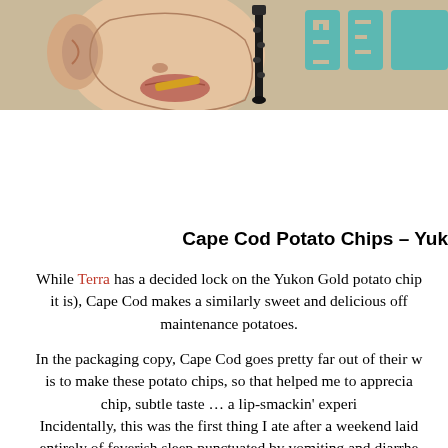[Figure (illustration): Header banner with beige/tan background showing a partial face illustration on the left, a dark clarinet-like instrument in the center, and partial teal/turquoise block lettering on the right edge]
Cape Cod Potato Chips – Yuk
While Terra has a decided lock on the Yukon Gold potato chip (and what a lock it is), Cape Cod makes a similarly sweet and delicious offering using low-maintenance potatoes.
In the packaging copy, Cape Cod goes pretty far out of their way to explain how difficult it is to make these potato chips, so that helped me to appreciate the hearty crunch of the chip, subtle taste ... a lip-smackin' experience.
Incidentally, this was the first thing I ate after a weekend laid up in bed consisting entirely of feverish sleep punctuated by vomiting and diarrhea